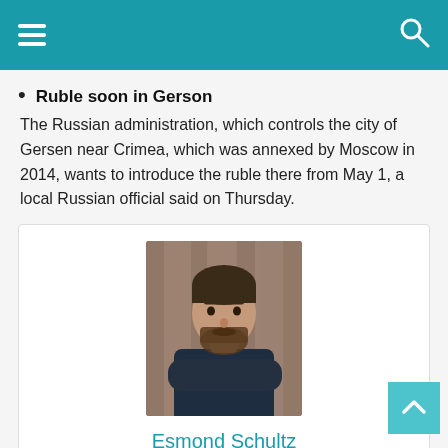Navigation bar with hamburger menu and search icon
Ruble soon in Gerson
The Russian administration, which controls the city of Gersen near Crimea, which was annexed by Moscow in 2014, wants to introduce the ruble there from May 1, a local Russian official said on Thursday.
[Figure (photo): Portrait photo of a man with beard and dark shirt, arms crossed, in front of a wooden background]
Esmond Schultz
"Proud social media buff. Unapologetic web scholar. Internet guru. Lifelong music junkie. Travel specialist."